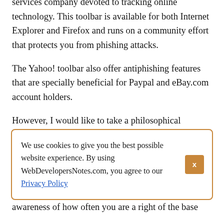services company devoted to tracking online technology. This toolbar is available for both Internet Explorer and Firefox and runs on a community effort that protects you from phishing attacks.
The Yahoo! toolbar also offer antiphishing features that are specially beneficial for Paypal and eBay.com account holders.
However, I would like to take a philosophical approach when answering the question of how to protect against phishing.
We use cookies to give you the best possible website experience. By using WebDevelopersNotes.com, you agree to our Privacy Policy
awareness of how often you are a right of the base